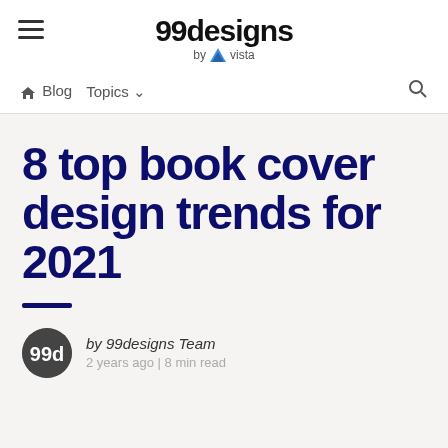99designs by vista
Blog  Topics  [search]
8 top book cover design trends for 2021
by 99designs Team
2 years ago | 8 min read